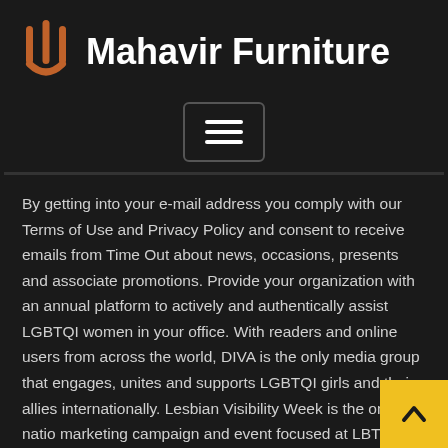Mahavir Furniture
[Figure (logo): Mahavir Furniture logo with orange trident-like symbol and white bold text]
By getting into your e-mail address you comply with our Terms of Use and Privacy Policy and consent to receive emails from Time Out about news, occasions, presents and associate promotions. Provide your organization with an annual platform to actively and authentically assist LGBTQI women in your office. With readers and online users from across the world, DIVA is the only media group that engages, unites and supports LGBTQI girls and their allies internationally. Lesbian Visibility Week is the only national marketing campaign and event focused at LBTQ ladies